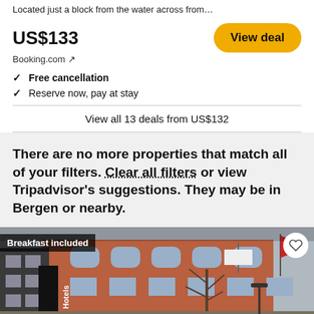Located just a block from the water across from…
US$133
Booking.com ↗
View deal
✓  Free cancellation
✓  Reserve now, pay at stay
View all 13 deals from US$132
There are no more properties that match all of your filters. Clear all filters or view Tripadvisor's suggestions. They may be in Bergen or nearby.
[Figure (photo): Exterior photo of a red-brick hotel building with a red flag, bare trees, and a 'Hotels' sign. A 'Breakfast included' badge is shown in the top-left corner and a heart/favorite icon in the top-right.]